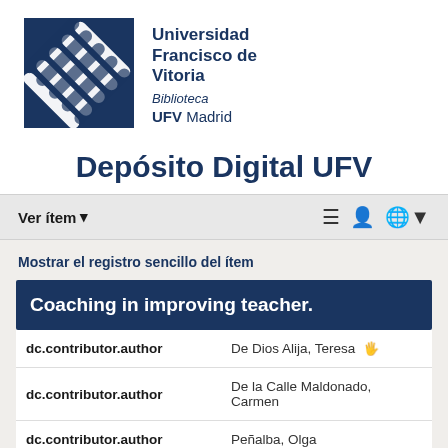[Figure (logo): Universidad Francisco de Vitoria logo — dark blue square with white diagonal stripe pattern, alongside university name, Biblioteca, and UFV Madrid text]
Depósito Digital UFV
Ver ítem ▾
Mostrar el registro sencillo del ítem
Coaching in improving teacher.
| Field | Value |
| --- | --- |
| dc.contributor.author | De Dios Alija, Teresa |
| dc.contributor.author | De la Calle Maldonado, Carmen |
| dc.contributor.author | Peñalba, Olga |